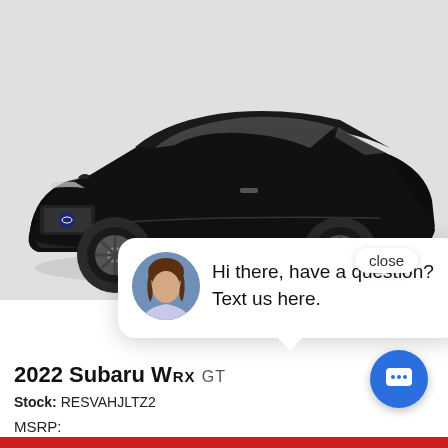[Figure (photo): Black 2022 Subaru WRX GT sedan shown from front-left angle on white/grey background]
close
[Figure (infographic): Chat widget with female avatar photo and speech bubble: 'Hi there, have a question? Text us here.']
2022 Subaru WRX GT
Stock: RESVAHJLTZ2
MSRP: